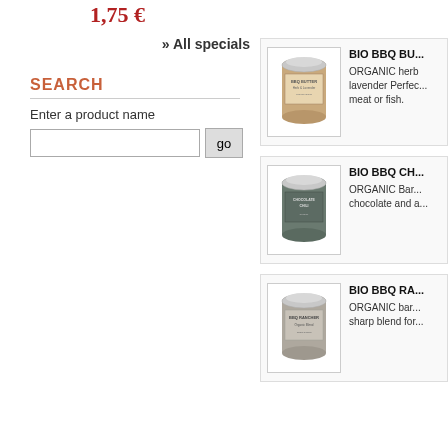1,75 €
» All specials
SEARCH
Enter a product name
[Figure (other): Search input box with go button]
[Figure (photo): BIO BBQ BUTTER product tin can with beige/kraft label]
BIO BBQ BU...
ORGANIC herb lavender Perfec... meat or fish.
[Figure (photo): BIO BBQ CHOCOLATE CHILI product tin can with dark green/grey label]
BIO BBQ CH...
ORGANIC Bar... chocolate and a...
[Figure (photo): BIO BBQ RANCHER product tin can with grey/beige label]
BIO BBQ RA...
ORGANIC bar... sharp blend for...